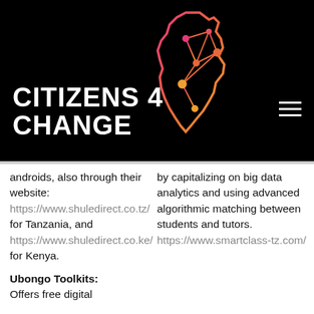[Figure (logo): Citizens 4 Change logo with Africa map outline in pink-to-orange gradient with network nodes, on black background. Text reads CITIZENS 4 CHANGE in white bold capitals.]
androids, also through their website: https://www.shuledirect.co.tz/ for Tanzania, and https://www.shuledirect.co.ke/ for Kenya.
by capitalizing on big data analytics and using advanced algorithmic matching between students and tutors. https://www.smartclass-tz.com/
Ubongo Toolkits:
Offers free digital